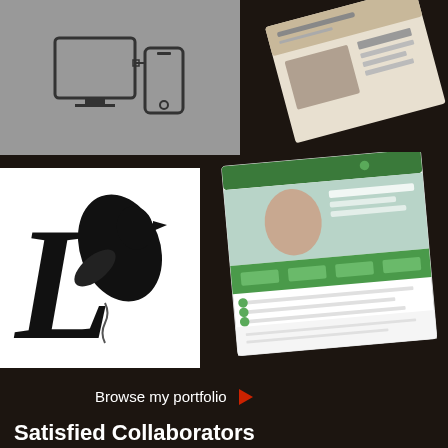[Figure (illustration): Portfolio thumbnail showing mobile/tablet device icon on gray background]
[Figure (photo): Tilted magazine or newspaper photo, top-right area]
[Figure (logo): Black and white logo with stylized bird and letter L on white background]
[Figure (screenshot): Green-themed website screenshot shown at angle, middle-right]
Browse my portfolio ▶
Satisfied Collaborators
[Figure (illustration): Yellow card with speech bubble icon drawn in dark lines]
[Figure (photo): Portrait photo of a woman with glasses and long brown hair]